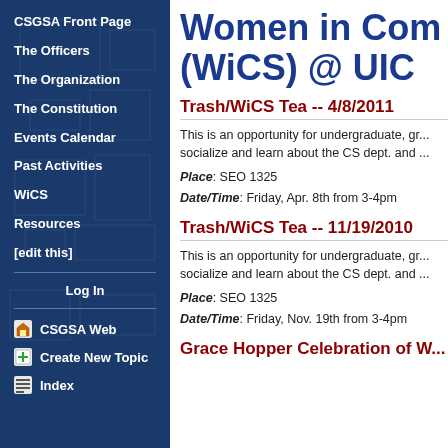Women in Computing (WiCS) @ UIC
CSGSA Front Page
The Officers
The Organization
The Constitution
Events Calendar
Past Activities
WiCS
Resources
[edit this]
Log In
CSGSA Web
Create New Topic
Index
Trash/WiCS Tea -- 4/8/2011
This is an opportunity for undergraduate, gr... socialize and learn about the CS dept. and ...
Place: SEO 1325
Date/Time: Friday, Apr. 8th from 3-4pm
Trash/WiCS Tea -- 11/19/2010
This is an opportunity for undergraduate, gr... socialize and learn about the CS dept. and ...
Place: SEO 1325
Date/Time: Friday, Nov. 19th from 3-4pm
Grace Hopper Celebration of W...